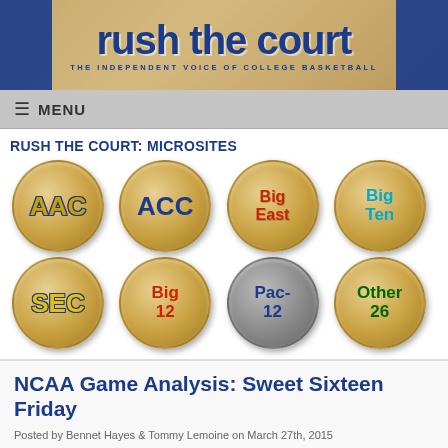rush the court — THE INDEPENDENT VOICE OF COLLEGE BASKETBALL
≡ MENU
RUSH THE COURT: MICROSITES
[Figure (infographic): Eight circular basketball court-textured icons representing conference microsites: AAC, ACC, Big East, Big Ten, SEC, Big 12, Pac-12, Other 26]
NCAA Game Analysis: Sweet Sixteen Friday
Posted by Bennet Hayes & Tommy Lemoine on March 27th, 2015
[Figure (logo): Rush the Court Final Four logo with decorative lines on either side]
The Sweet Sixteen continues with four more compelling games tonight in Houston and...